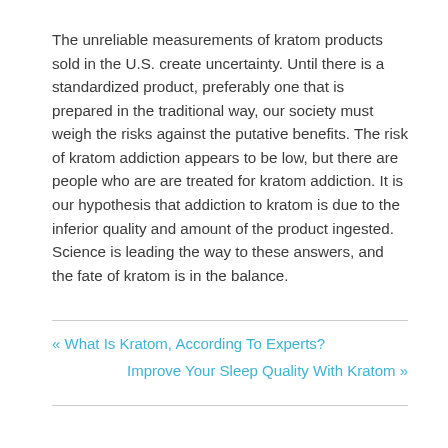The unreliable measurements of kratom products sold in the U.S. create uncertainty. Until there is a standardized product, preferably one that is prepared in the traditional way, our society must weigh the risks against the putative benefits. The risk of kratom addiction appears to be low, but there are people who are are treated for kratom addiction. It is our hypothesis that addiction to kratom is due to the inferior quality and amount of the product ingested. Science is leading the way to these answers, and the fate of kratom is in the balance.
« What Is Kratom, According To Experts?
Improve Your Sleep Quality With Kratom »